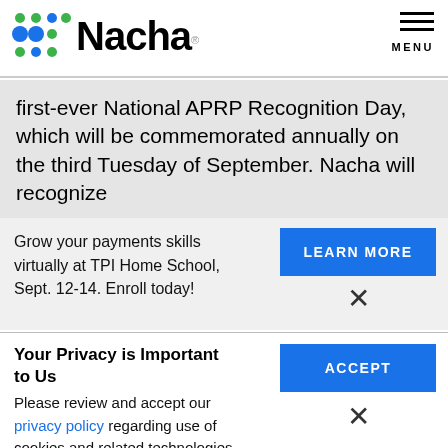[Figure (logo): Nacha logo with green and blue dots grid and Nacha wordmark]
MENU
first-ever National APRP Recognition Day, which will be commemorated annually on the third Tuesday of September. Nacha will recognize
Grow your payments skills virtually at TPI Home School, Sept. 12-14. Enroll today!
LEARN MORE
Your Privacy is Important to Us
Please review and accept our privacy policy regarding use of cookies and related technologies.
ACCEPT